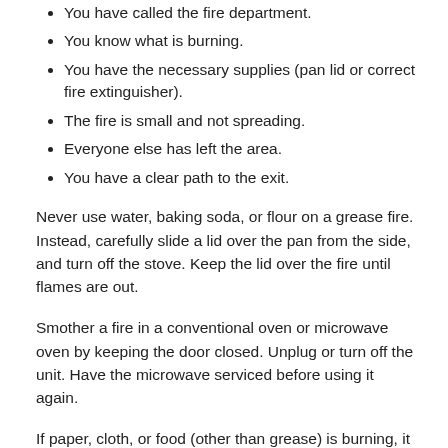You have called the fire department.
You know what is burning.
You have the necessary supplies (pan lid or correct fire extinguisher).
The fire is small and not spreading.
Everyone else has left the area.
You have a clear path to the exit.
Never use water, baking soda, or flour on a grease fire. Instead, carefully slide a lid over the pan from the side, and turn off the stove. Keep the lid over the fire until flames are out.
Smother a fire in a conventional oven or microwave oven by keeping the door closed. Unplug or turn off the unit. Have the microwave serviced before using it again.
If paper, cloth, or food (other than grease) is burning, it may be safe to use an A or ABC fire extinguisher, if you know